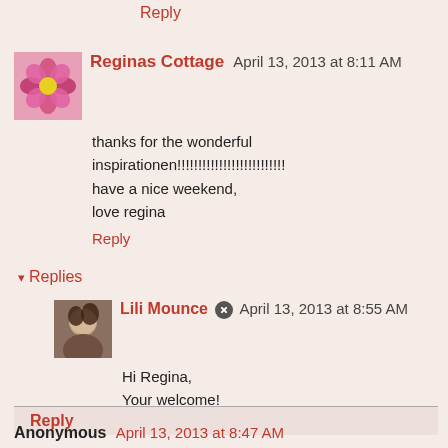Reply
Reginas Cottage April 13, 2013 at 8:11 AM
thanks for the wonderful inspirationen!!!!!!!!!!!!!!!!!!!!!!!!!!
have a nice weekend,
love regina
Reply
Replies
Lili Mounce April 13, 2013 at 8:55 AM
Hi Regina,
Your welcome!
Hope you have a wonderful weekend, as well!
Reply
Anonymous April 13, 2013 at 8:47 AM